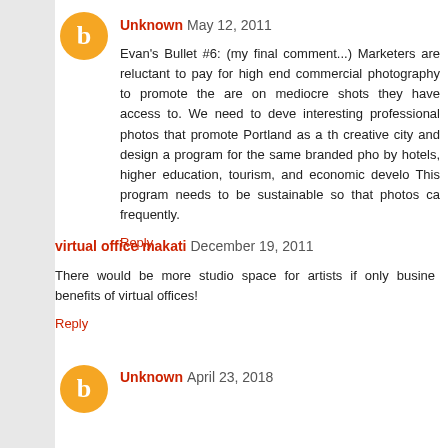Unknown May 12, 2011
Evan's Bullet #6: (my final comment...) Marketers are reluctant to pay for high end commercial photography to promote the area, relying on mediocre shots they have access to. We need to develop interesting professional photos that promote Portland as a thriving creative city and design a program for the same branded photos used by hotels, higher education, tourism, and economic development. This program needs to be sustainable so that photos can refreshed frequently.
Reply
virtual office makati December 19, 2011
There would be more studio space for artists if only businesses knew the benefits of virtual offices!
Reply
Unknown April 23, 2018